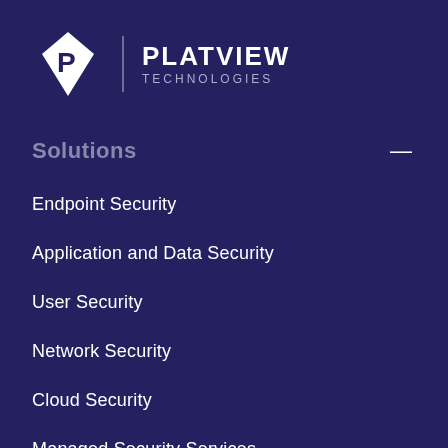[Figure (logo): Platview Technologies logo: white diamond/kite shape with letter P, vertical divider, company name PLATVIEW TECHNOLOGIES in white text on dark navy background]
Solutions
Endpoint Security
Application and Data Security
User Security
Network Security
Cloud Security
Managed Security Services